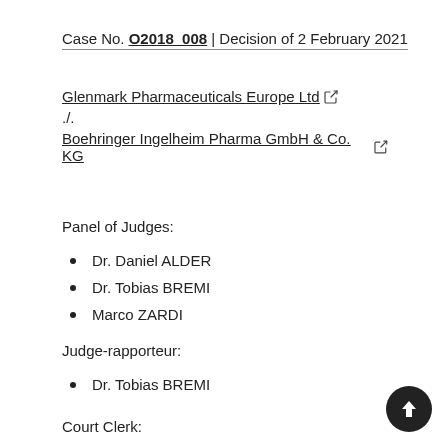Case No. O2018_008 | Decision of 2 February 2021
Glenmark Pharmaceuticals Europe Ltd
./.
Boehringer Ingelheim Pharma GmbH & Co. KG
Panel of Judges:
Dr. Daniel ALDER
Dr. Tobias BREMI
Marco ZARDI
Judge-rapporteur:
Dr. Tobias BREMI
Court Clerk: